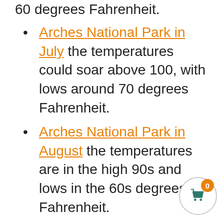60 degrees Fahrenheit.
Arches National Park in July the temperatures could soar above 100, with lows around 70 degrees Fahrenheit.
Arches National Park in August the temperatures are in the high 90s and lows in the 60s degrees Fahrenheit.
We LOVE visiting Arches National Park in...